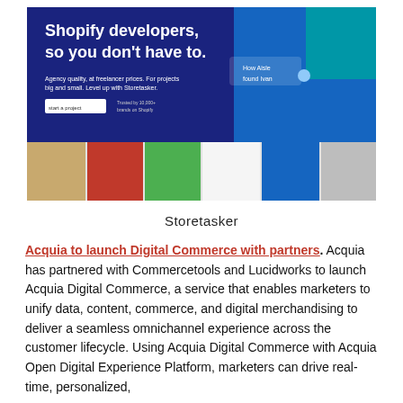[Figure (screenshot): Screenshot of the Storetasker website, showing a dark blue header with text 'Shopify developers, so you don't have to.' and a row of product/lifestyle images below.]
Storetasker
Acquia to launch Digital Commerce with partners. Acquia has partnered with Commercetools and Lucidworks to launch Acquia Digital Commerce, a service that enables marketers to unify data, content, commerce, and digital merchandising to deliver a seamless omnichannel experience across the customer lifecycle. Using Acquia Digital Commerce with Acquia Open Digital Experience Platform, marketers can drive real-time, personalized, channel-based web content to meet customers where they are.